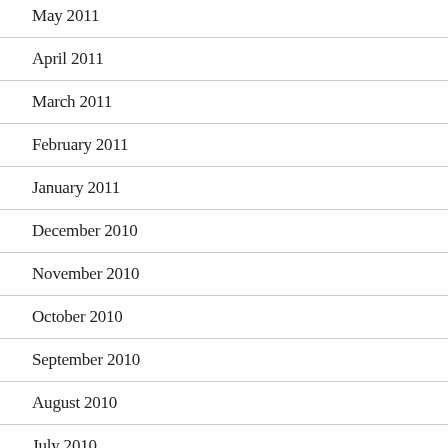May 2011
April 2011
March 2011
February 2011
January 2011
December 2010
November 2010
October 2010
September 2010
August 2010
July 2010